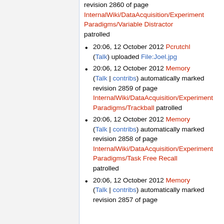revision 2860 of page InternalWiki/DataAcquisition/ExperimentParadigms/Variable Distractor patrolled
20:06, 12 October 2012 Pcrutchl (Talk) uploaded File:Joel.jpg
20:06, 12 October 2012 Memory (Talk | contribs) automatically marked revision 2859 of page InternalWiki/DataAcquisition/ExperimentParadigms/Trackball patrolled
20:06, 12 October 2012 Memory (Talk | contribs) automatically marked revision 2858 of page InternalWiki/DataAcquisition/ExperimentParadigms/Task Free Recall patrolled
20:06, 12 October 2012 Memory (Talk | contribs) automatically marked revision 2857 of page